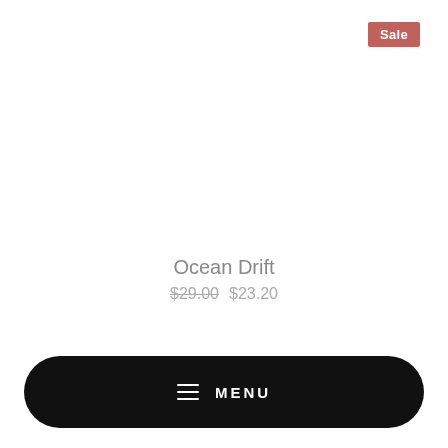Sale
Ocean Drift
$29.00  $23.20
≡ MENU